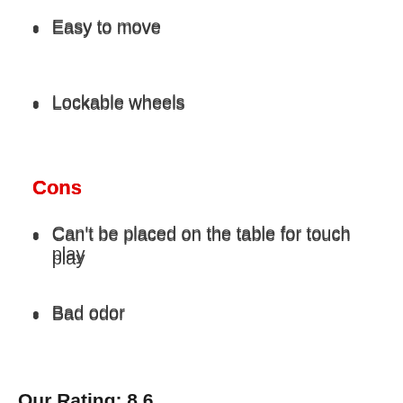Easy to move
Lockable wheels
Cons
Can't be placed on the table for touch play
Bad odor
Our Rating: 8.6
The Yuanclllp ping pong return board features 8 rubbers as is standard. This is perfectly sufficient to maintain long rallies. The rubbers attach to a wooden board that connects to a